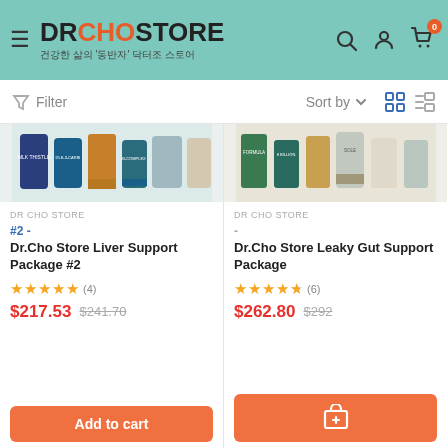[Figure (logo): DR CHO STORE logo with Korean subtitle on teal header bar]
Filter    Sort by    ⊞  ≡
[Figure (photo): Product image for Dr.Cho Store Liver Support Package #2 showing supplement bottles]
DR CHO STORE
#2 -
Dr.Cho Store Liver Support Package #2
★★★★★ (4)
$217.53   $241.70
Add to cart
[Figure (photo): Product image for Dr.Cho Store Leaky Gut Support Package showing supplement bottles]
DR CHO STORE
-
Dr.Cho Store Leaky Gut Support Package
★★★★★ (6)
$262.80   $292